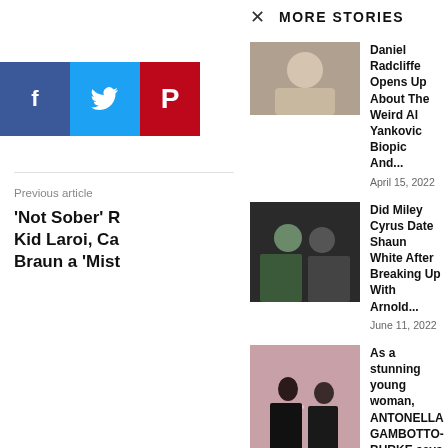MORE STORIES
[Figure (photo): Thumbnail image for Daniel Radcliffe story]
Daniel Radcliffe Opens Up About The Weird Al Yankovic Biopic And...
April 15, 2022
[Figure (photo): Thumbnail image for Miley Cyrus story]
Did Miley Cyrus Date Shaun White After Breaking Up With Arnold...
June 11, 2022
[Figure (photo): Thumbnail image for Antonella Gambotto-Burke story]
As a stunning young woman, ANTONELLA GAMBOTTO-BURKE says boyfriends never trusted...
August 18, 2022
Previous article
'Not Sober' R Kid Laroi, Ca Braun a 'Mist
Ruben Randall
http://actormagz.com